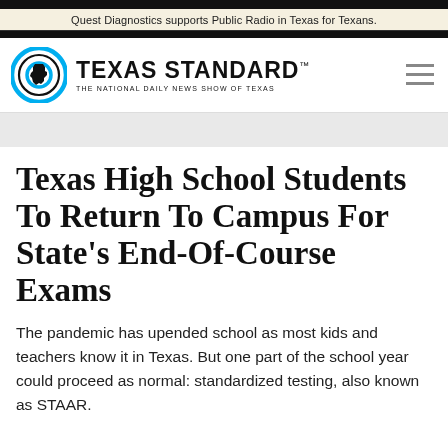Quest Diagnostics supports Public Radio in Texas for Texans.
[Figure (logo): Texas Standard logo — circular emblem with Texas state outline and the text TEXAS STANDARD, THE NATIONAL DAILY NEWS SHOW OF TEXAS]
Texas High School Students To Return To Campus For State’s End-Of-Course Exams
The pandemic has upended school as most kids and teachers know it in Texas. But one part of the school year could proceed as normal: standardized testing, also known as STAAR.